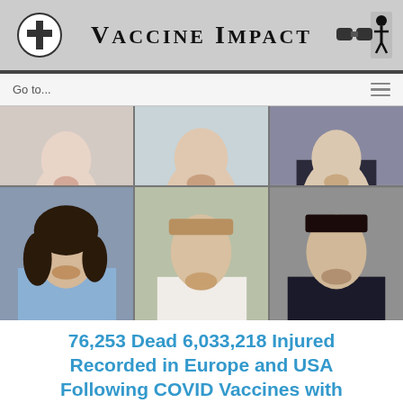Vaccine Impact
Go to...
[Figure (photo): Grid of six portrait photos of people, arranged in two rows of three. Top row shows three people (cropped faces/upper body). Bottom row shows three people including a woman in a blue top, a smiling man in a white shirt, and a man in a suit.]
76,253 Dead 6,033,218 Injured Recorded in Europe and USA Following COVID Vaccines with